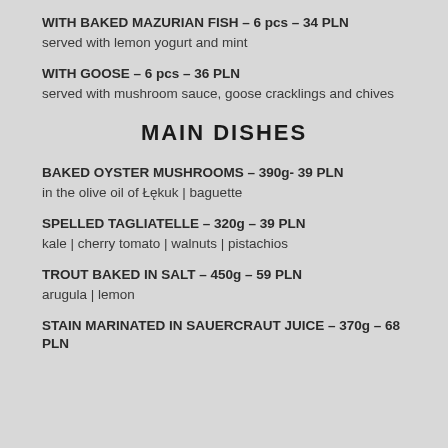WITH BAKED MAZURIAN FISH – 6 pcs – 34 PLN
served with lemon yogurt and mint
WITH GOOSE – 6 pcs – 36 PLN
served with mushroom sauce, goose cracklings and chives
MAIN DISHES
BAKED OYSTER MUSHROOMS – 390g- 39 PLN
in the olive oil of Łękuk | baguette
SPELLED TAGLIATELLE – 320g – 39 PLN
kale | cherry tomato | walnuts | pistachios
TROUT BAKED IN SALT – 450g – 59 PLN
arugula | lemon
STAIN MARINATED IN SAUERCRAUT JUICE – 370g – 68 PLN